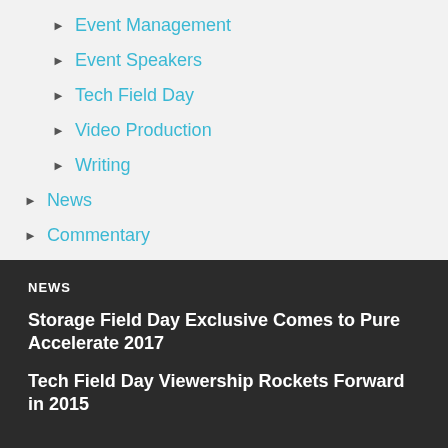Event Management
Event Speakers
Tech Field Day
Video Production
Writing
News
Commentary
NEWS
Storage Field Day Exclusive Comes to Pure Accelerate 2017
Tech Field Day Viewership Rockets Forward in 2015